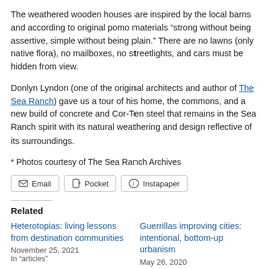The weathered wooden houses are inspired by the local barns and according to original pomo materials “strong without being assertive, simple without being plain.” There are no lawns (only native flora), no mailboxes, no streetlights, and cars must be hidden from view.
Donlyn Lyndon (one of the original architects and author of The Sea Ranch) gave us a tour of his home, the commons, and a new build of concrete and Cor-Ten steel that remains in the Sea Ranch spirit with its natural weathering and design reflective of its surroundings.
* Photos courtesy of The Sea Ranch Archives
[Figure (screenshot): Share buttons: Email, Pocket, Instapaper]
Related
Heterotopias: living lessons from destination communities
November 25, 2021
In “articles”
Guerrillas improving cities: intentional, bottom-up urbanism
May 26, 2020